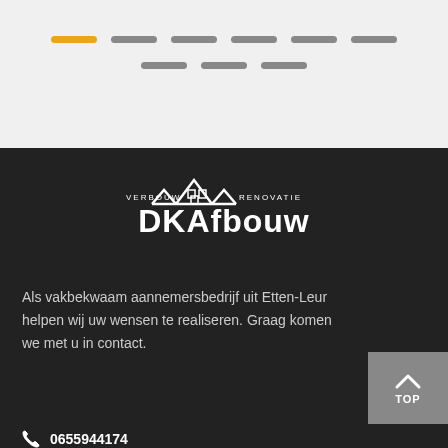[Figure (screenshot): Navigation pagination dots/pills row 1 with one active (yellow) pill and five grey pills]
[Figure (screenshot): Navigation pagination dots/pills row 2 with three grey pills]
[Figure (logo): DKAfbouw logo with house/roofline icon, 'VERBOUW' left, 'RENOVATIE' right, 'DKAfbouw' in large white text]
Als vakbekwaam aannemersbedrijf uit Etten-Leur helpen wij uw wensen te realiseren. Graag komen we met u in contact.
0655944174